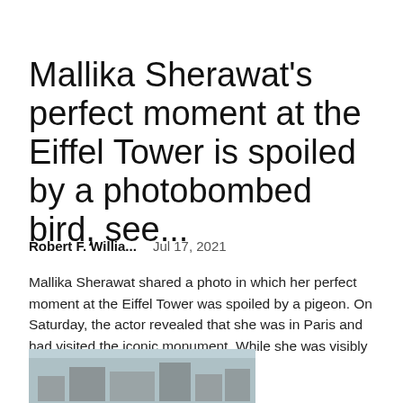Mallika Sherawat's perfect moment at the Eiffel Tower is spoiled by a photobombed bird, see...
Robert F. Willia...   Jul 17, 2021
Mallika Sherawat shared a photo in which her perfect moment at the Eiffel Tower was spoiled by a pigeon. On Saturday, the actor revealed that she was in Paris and had visited the iconic monument. While she was visibly delighted with her...
[Figure (photo): Aerial photograph of a building complex or urban area, partially visible at bottom of page.]